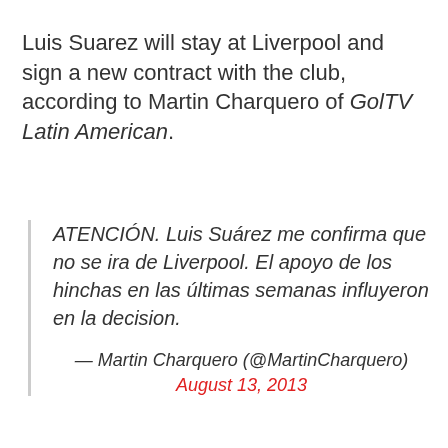Luis Suarez will stay at Liverpool and sign a new contract with the club, according to Martin Charquero of GolTV Latin American.
ATENCIÓN. Luis Suárez me confirma que no se ira de Liverpool. El apoyo de los hinchas en las últimas semanas influyeron en la decision. — Martin Charquero (@MartinCharquero) August 13, 2013